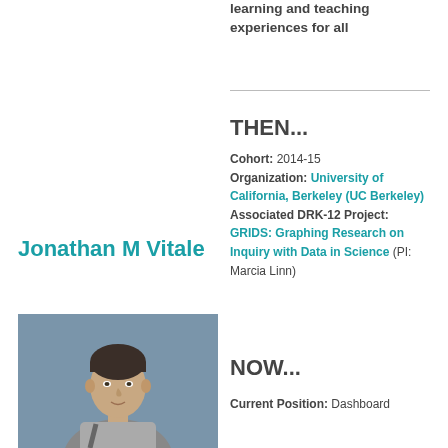learning and teaching experiences for all
THEN...
Cohort: 2014-15
Organization: University of California, Berkeley (UC Berkeley)
Associated DRK-12 Project: GRIDS: Graphing Research on Inquiry with Data in Science (PI: Marcia Linn)
Jonathan M Vitale
[Figure (photo): Photo of Jonathan M Vitale, a man with short dark hair wearing a grey shirt, photographed against a grey/blue background]
NOW...
Current Position: Dashboard